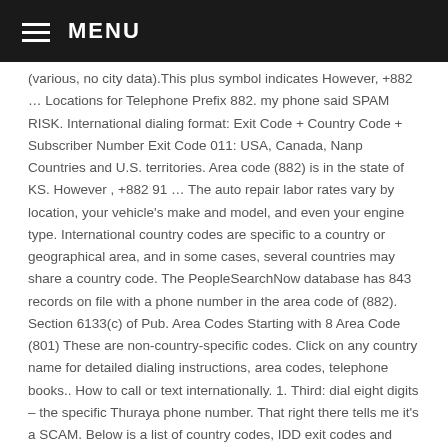MENU
(various, no city data).This plus symbol indicates However, +882 … Locations for Telephone Prefix 882. my phone said SPAM RISK. International dialing format: Exit Code + Country Code + Subscriber Number Exit Code 011: USA, Canada, Nanp Countries and U.S. territories. Area code (882) is in the state of KS. However , +882 91 … The auto repair labor rates vary by location, your vehicle's make and model, and even your engine type. International country codes are specific to a country or geographical area, and in some cases, several countries may share a country code. The PeopleSearchNow database has 843 records on file with a phone number in the area code of (882). Section 6133(c) of Pub. Area Codes Starting with 8 Area Code (801) These are non-country-specific codes. Click on any country name for detailed dialing instructions, area codes, telephone books.. How to call or text internationally. 1. Third: dial eight digits – the specific Thuraya phone number. That right there tells me it's a SCAM. Below is a list of country codes, IDD exit codes and national trunk prefixes. Area code (882) is in the state of KS. The phone number for a subscriber of such a service will start with +882/+883 followed by the carrier code. 1. Exit code - Country